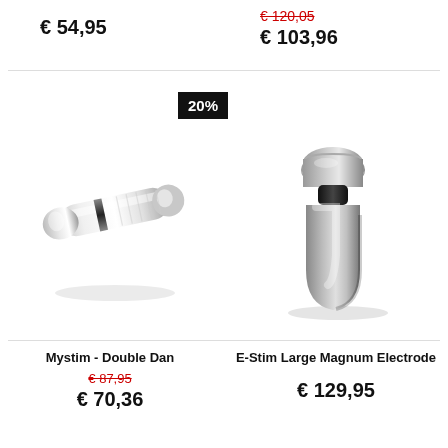€ 54,95
€ 120,05 (strikethrough) € 103,96
[Figure (photo): Silver metallic cylindrical adult toy (Mystim Double Dan) shown diagonally on white background]
[Figure (photo): Silver/dark metallic bullet-shaped electrode (E-Stim Large Magnum Electrode) shown on white background with small ribbed connector piece]
Mystim - Double Dan
€ 87,95 (strikethrough) € 70,36
E-Stim Large Magnum Electrode
€ 129,95